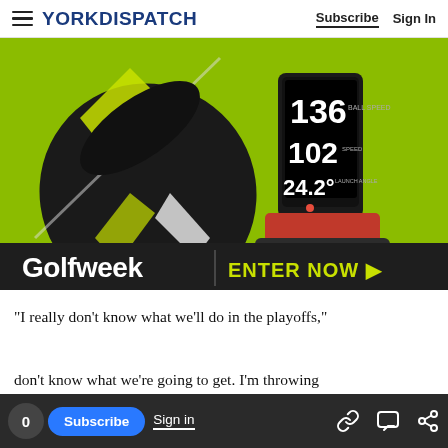YORK DISPATCH | Subscribe  Sign In
[Figure (photo): Advertisement banner showing a golf club driver head on a green background alongside a phone/device displaying launch monitor data: 136, 102, 24.2°. Below the image: 'Golfweek | ENTER NOW ▶']
"I really don't know what we'll do in the playoffs,"
don't know what we're going to get. I'm throwing